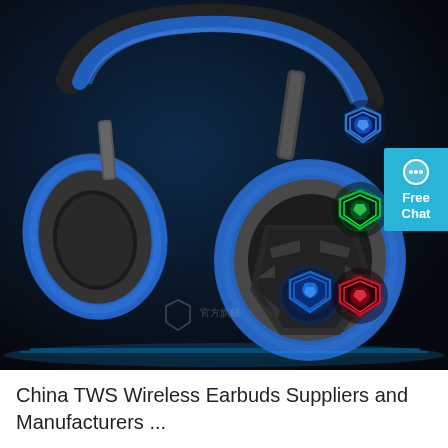[Figure (photo): Gaming headset (black and blue) shown against a dark navy/black background. The headset has blue cushioned ear cups, a padded headband, and a glowing blue shield logo on the ear cup. To the right side of the image, three colored shield logos are visible: blue (top), green (middle), red (bottom). A 'Free Chat' button/badge in cyan/teal is overlaid on the right edge. A watermark with Chinese text is visible at the bottom center of the headset image.]
China TWS Wireless Earbuds Suppliers and Manufacturers ...